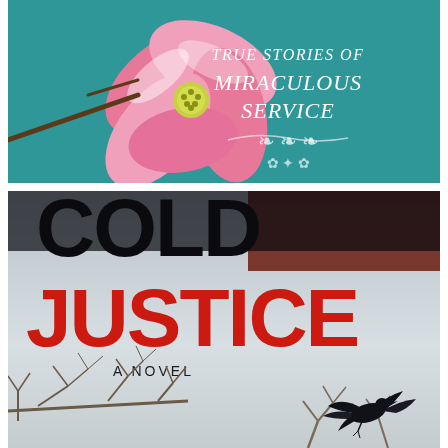[Figure (illustration): Top book cover showing a pink dogwood flower on a teal/turquoise background with text reading 'TRUE STORIES OF MIRACULOUS SERVICE' in white with decorative flourishes]
[Figure (illustration): Bottom book cover for 'COLD JUSTICE - A NOVEL' showing large black block letters 'COLD' and large red block letters 'JUSTICE' over a wintry scene with bare tree branches and a black crow/raven in flight against a pale gray sky]